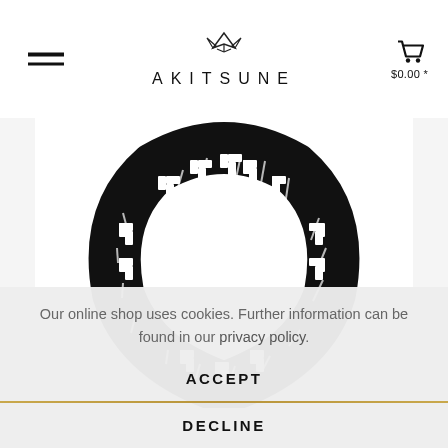AKITSUNE — $0.00 *
[Figure (photo): Black stainless steel bracelet with Greek key meander pattern, displayed on a white background.]
Our online shop uses cookies. Further information can be found in our privacy policy.
ACCEPT
DECLINE